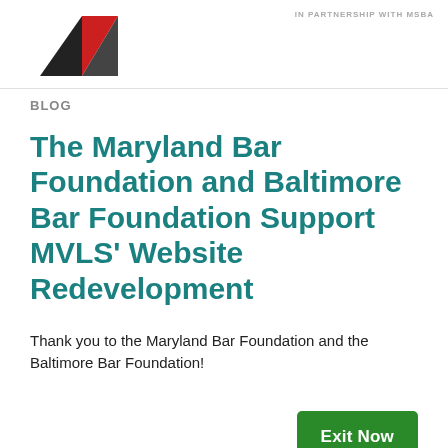[Figure (logo): MVLS logo with red and black geometric shapes (heart/arrow) and 'In Partnership with MSBA' text]
BLOG
The Maryland Bar Foundation and Baltimore Bar Foundation Support MVLS' Website Redevelopment
Thank you to the Maryland Bar Foundation and the Baltimore Bar Foundation!